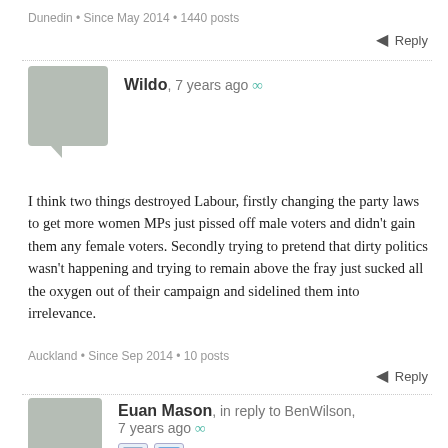Dunedin • Since May 2014 • 1440 posts
↩ Reply
Wildo, 7 years ago ∞
I think two things destroyed Labour, firstly changing the party laws to get more women MPs just pissed off male voters and didn't gain them any female voters. Secondly trying to pretend that dirty politics wasn't happening and trying to remain above the fray just sucked all the oxygen out of their campaign and sidelined them into irrelevance.
Auckland • Since Sep 2014 • 10 posts
↩ Reply
Euan Mason, in reply to BenWilson, 7 years ago ∞
Ben, one of the few things that Labour got right